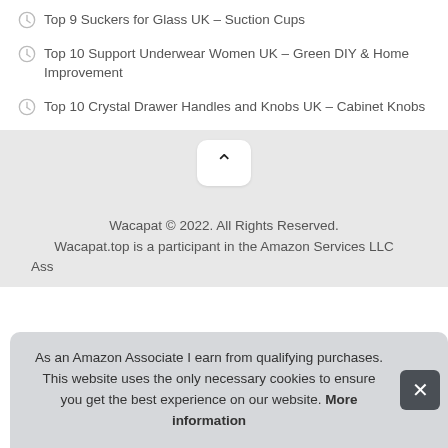Top 9 Suckers for Glass UK – Suction Cups
Top 10 Support Underwear Women UK – Green DIY & Home Improvement
Top 10 Crystal Drawer Handles and Knobs UK – Cabinet Knobs
[Figure (other): Scroll-to-top button with upward chevron arrow on grey background]
Wacapat © 2022. All Rights Reserved. Wacapat.top is a participant in the Amazon Services LLC Associates Program, an affiliate advertising program designed to...
As an Amazon Associate I earn from qualifying purchases. This website uses the only necessary cookies to ensure you get the best experience on our website. More information